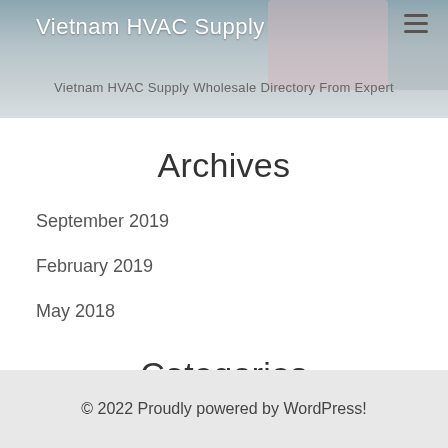Vietnam HVAC Supply
Vietnam HVAC Supply Wholesale Directory From Expert
Archives
September 2019
February 2019
May 2018
Categories
Vietnam HVAC Supply
© 2022 Proudly powered by WordPress!